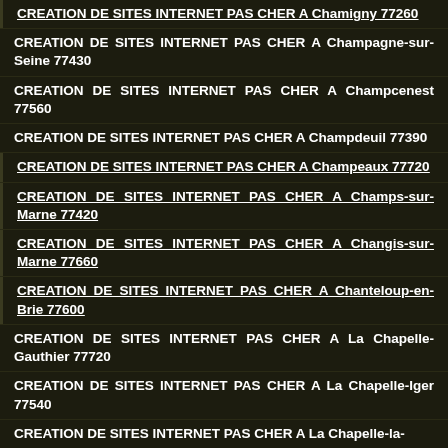CREATION DE SITES INTERNET PAS CHER A Chamigny 77260
CREATION DE SITES INTERNET PAS CHER A Champagne-sur-Seine 77430
CREATION DE SITES INTERNET PAS CHER A Champcenest 77560
CREATION DE SITES INTERNET PAS CHER A Champdeuil 77390
CREATION DE SITES INTERNET PAS CHER A Champeaux 77720
CREATION DE SITES INTERNET PAS CHER A Champs-sur-Marne 77420
CREATION DE SITES INTERNET PAS CHER A Changis-sur-Marne 77660
CREATION DE SITES INTERNET PAS CHER A Chanteloup-en-Brie 77600
CREATION DE SITES INTERNET PAS CHER A La Chapelle-Gauthier 77720
CREATION DE SITES INTERNET PAS CHER A La Chapelle-Iger 77540
CREATION DE SITES INTERNET PAS CHER A La Chapelle-la-